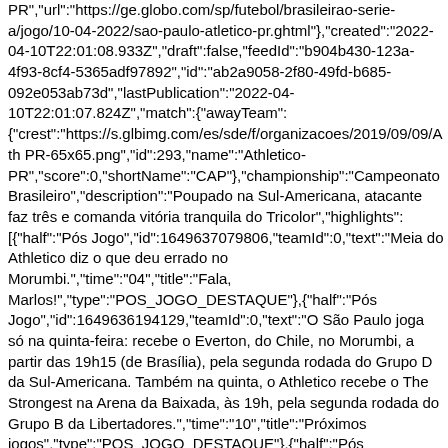PR","url":"https://ge.globo.com/sp/futebol/brasileirao-serie-a/jogo/10-04-2022/sao-paulo-atletico-pr.ghtml"},{"created":"2022-04-10T22:01:08.933Z","draft":false,"feedId":"b904b430-123a-4f93-8cf4-5365adf97892","id":"ab2a9058-2f80-49fd-b685-092e053ab73d","lastPublication":"2022-04-10T22:01:07.824Z","match":{"awayTeam":{"crest":"https://s.glbimg.com/es/sde/f/organizacoes/2019/09/09/Ath PR-65x65.png","id":293,"name":"Athletico-PR","score":0,"shortName":"CAP"},"championship":"Campeonato Brasileiro","description":"Poupado na Sul-Americana, atacante faz três e comanda vitória tranquila do Tricolor","highlights":[{"half":"Pós Jogo","id":1649637079806,"teamId":0,"text":"Meia do Athletico diz o que deu errado no Morumbi.","time":"04","title":"Fala, Marlos!","type":"POS_JOGO_DESTAQUE"},{"half":"Pós Jogo","id":1649636194129,"teamId":0,"text":"O São Paulo joga só na quinta-feira: recebe o Everton, do Chile, no Morumbi, a partir das 19h15 (de Brasília), pela segunda rodada do Grupo D da Sul-Americana. Também na quinta, o Athletico recebe o The Strongest na Arena da Baixada, às 19h, pela segunda rodada do Grupo B da Libertadores.","time":"10","title":"Próximos jogos","type":"POS_JOGO_DESTAQUE"},{"half":"Pós Jogo","id":1649636175258,"teamId":0,"text":"Público: 20.606 torcedores.","time":"09","title":"Público e renda","type":"POS_JOGO_DESTAQUE"}],"homeTeam":